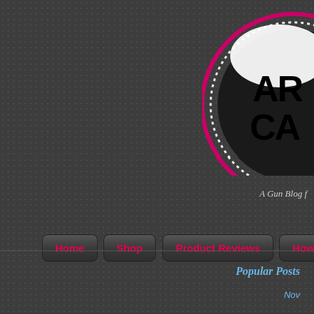[Figure (logo): Circular logo with pink/magenta ring and white dotted border, black background circle with text 'AR CA' visible, partially cropped at top-right corner]
A Gun Blog f
Home
Shop
Product Reviews
How-To's
Popular Posts
Nov